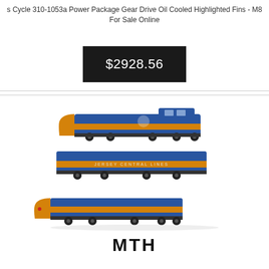s Cycle 310-1053a Power Package Gear Drive Oil Cooled Highlighted Fins - M8 For Sale Online
$2928.56
[Figure (photo): Three blue and orange model train locomotives (Jersey Central Lines) stacked in a diagonal arrangement, product photo on white background]
MTH